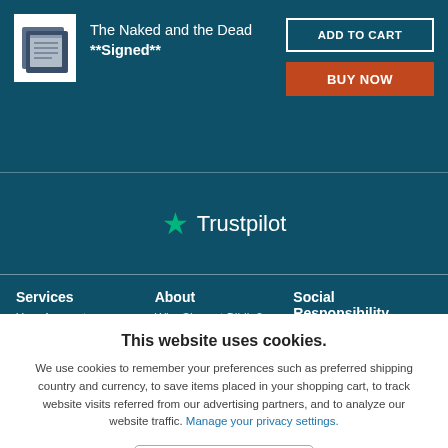The Naked and the Dead **Signed**
ADD TO CART
BUY NOW
[Figure (logo): Trustpilot green star logo with text 'Trustpilot']
Services
Your Account
About
Why Shop at Biblio?
Social Responsibility
This website uses cookies.
We use cookies to remember your preferences such as preferred shipping country and currency, to save items placed in your shopping cart, to track website visits referred from our advertising partners, and to analyze our website traffic. Manage your privacy settings.
AGREE AND CLOSE